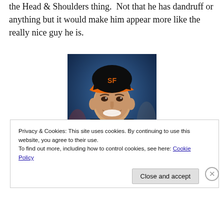doing some of these boy mailer commercials, you know, the Head & Shoulders thing. Not that he has dandruff or anything but it would make him appear more like the really nice guy he is.
[Figure (photo): A smiling young man wearing a San Francisco Giants black baseball cap with orange brim and SF logo, dressed in black, photographed against a blurred blue background.]
Privacy & Cookies: This site uses cookies. By continuing to use this website, you agree to their use.
To find out more, including how to control cookies, see here: Cookie Policy